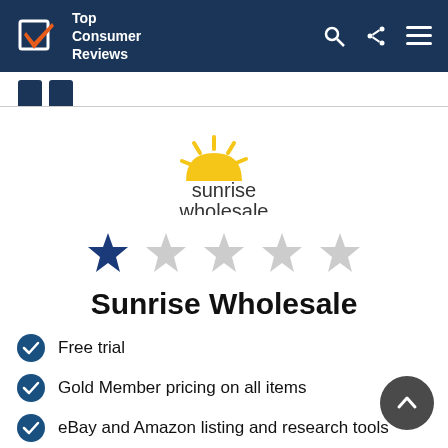Top Consumer Reviews
[Figure (logo): Sunrise Wholesale company logo with yellow sun arc graphic and text 'sunrise wholesale' in dark gray]
[Figure (other): Star rating: 1 out of 5 stars. One filled blue star, four gray empty stars.]
Sunrise Wholesale
Free trial
Gold Member pricing on all items
eBay and Amazon listing and research tools